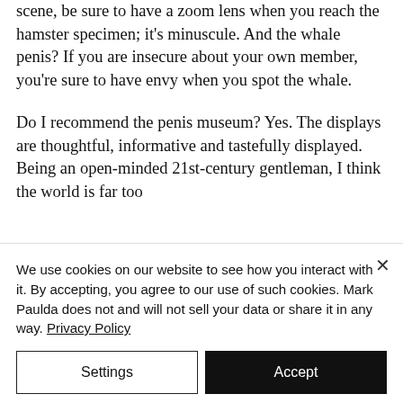scene, be sure to have a zoom lens when you reach the hamster specimen; it's minuscule. And the whale penis? If you are insecure about your own member, you're sure to have envy when you spot the whale.
Do I recommend the penis museum? Yes. The displays are thoughtful, informative and tastefully displayed. Being an open-minded 21st-century gentleman, I think the world is far too
We use cookies on our website to see how you interact with it. By accepting, you agree to our use of such cookies. Mark Paulda does not and will not sell your data or share it in any way. Privacy Policy
Settings
Accept